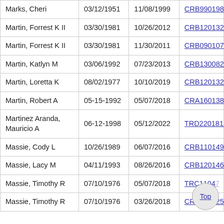| Marks, Cheri | 03/12/1951 | 11/08/1999 | CRB9901987 |
| Martin, Forrest K II | 03/30/1981 | 10/26/2012 | CRB1201321 |
| Martin, Forrest K II | 03/30/1981 | 11/30/2011 | CRB0901076 |
| Martin, Katlyn M | 03/06/1992 | 07/23/2013 | CRB1300820 |
| Martin, Loretta K | 08/02/1977 | 10/10/2019 | CRB1201322 |
| Martin, Robert A | 05-15-1992 | 05/07/2018 | CRA1601381 |
| Martinez Aranda, Mauricio A | 06-12-1998 | 05/12/2022 | TRD2201812 |
| Massie, Cody L | 10/26/1989 | 06/07/2016 | CRB1101496 |
| Massie, Lacy M | 04/11/1993 | 08/26/2016 | CRB1201466 |
| Massie, Timothy R | 07/10/1976 | 05/07/2018 | TRC11047... |
| Massie, Timothy R | 07/10/1976 | 03/26/2018 | CRB1800255 |